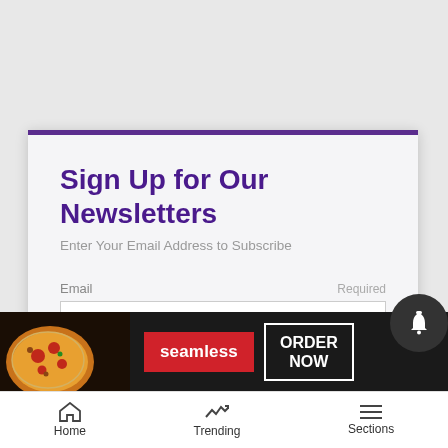Sign Up for Our Newsletters
Enter Your Email Address to Subscribe
Email   Required
[Figure (screenshot): Email input text field, empty, white background with light border]
SELECT
[Figure (infographic): Seamless food delivery advertisement banner with pizza image, red Seamless button, and ORDER NOW button on dark background]
Home   Trending   Sections